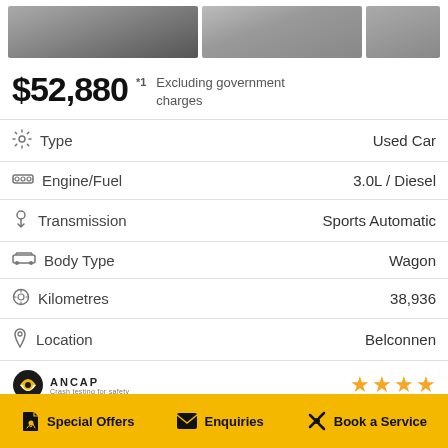[Figure (photo): Three car listing thumbnail photos at top of page]
$52,880 *1 Excluding government charges
| Attribute | Value |
| --- | --- |
| Type | Used Car |
| Engine/Fuel | 3.0L / Diesel |
| Transmission | Sports Automatic |
| Body Type | Wagon |
| Kilometres | 38,936 |
| Location | Belconnen |
[Figure (logo): ANCAP crash testing for safety logo with 4 star rating]
Special Offers   Enquiries   Book a Service